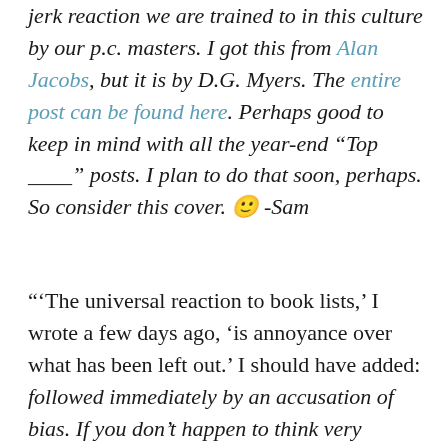jerk reaction we are trained to in this culture by our p.c. masters. I got this from Alan Jacobs, but it is by D.G. Myers. The entire post can be found here. Perhaps good to keep in mind with all the year-end “Top ____” posts. I plan to do that soon, perhaps. So consider this cover. 🙂 -Sam
“‘The universal reaction to book lists,’ I wrote a few days ago, ‘is annoyance over what has been left out.’ I should have added: followed immediately by an accusation of bias. If you don’t happen to think very